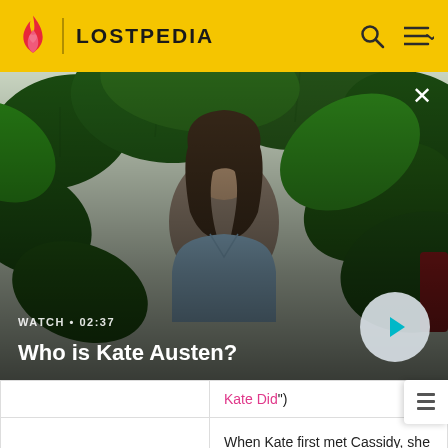LOSTPEDIA
[Figure (screenshot): Video thumbnail showing a woman with dark hair among tropical green leaves, with play button overlay. Title: 'Who is Kate Austen?' WATCH • 02:37]
|  | Kate Did") |
| Missouri | When Kate first met Cassidy, she had a Missouri plate: 40N DVB ("Left Behind") |
| Nebraska/Ohio | Kate changed her license... |